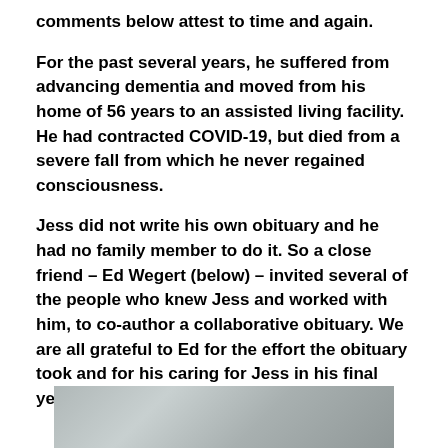comments below attest to time and again.
For the past several years, he suffered from advancing dementia and moved from his home of 56 years to an assisted living facility. He had contracted COVID-19, but died from a severe fall from which he never regained consciousness.
Jess did not write his own obituary and he had no family member to do it. So a close friend – Ed Wegert (below) – invited several of the people who knew Jess and worked with him, to co-author a collaborative obituary. We are all grateful to Ed for the effort the obituary took and for his caring for Jess in his final years.
[Figure (photo): A partially visible photograph at the bottom of the page, showing a grey/muted image.]